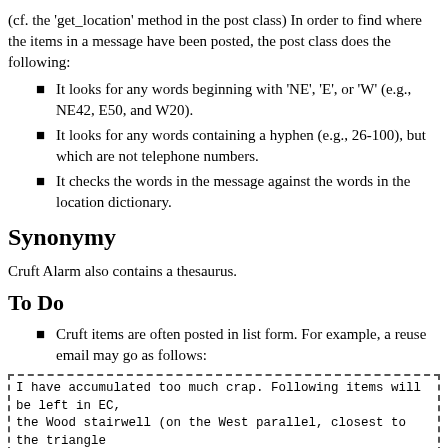(cf. the 'get_location' method in the post class) In order to find where the items in a message have been posted, the post class does the following:
It looks for any words beginning with 'NE', 'E', or 'W' (e.g., NE42, E50, and W20).
It looks for any words containing a hyphen (e.g., 26-100), but which are not telephone numbers.
It checks the words in the message against the words in the location dictionary.
Synonymy
Cruft Alarm also contains a thesaurus.
To Do
Cruft items are often posted in list form. For example, a reuse email may go as follows:
I have accumulated too much crap. Following items will be left in EC, the Wood stairwell (on the West parallel, closest to the triangle building). In a box — look for it!